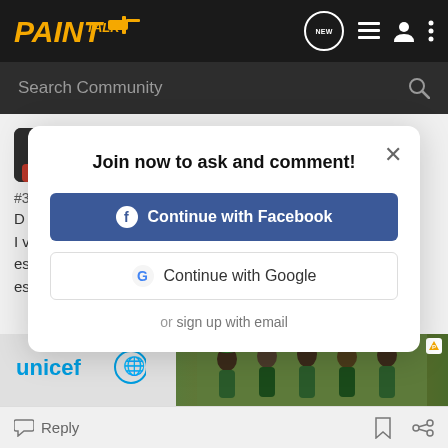PaintTalk — Search Community header bar
Damon T · Painting Contractor 🇺🇸
Joined Nov 21, 2008 · 4,074 Posts
Join now to ask and comment!
Continue with Facebook
Continue with Google
or sign up with email
[Figure (screenshot): UNICEF advertisement with children in green hats]
Reply